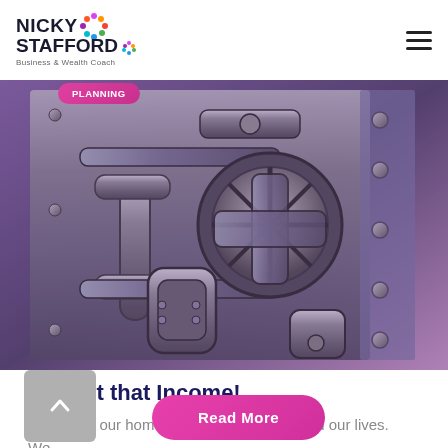Nicky Stafford — Business & Wealth Coach
[Figure (photo): Close-up of a large metal bank vault door with chrome locking mechanisms, wheels, bolts, and a purple-tinted metallic finish]
Protect that Income!
We insure our homes, our cars, our pets and our lives. We…
Read More